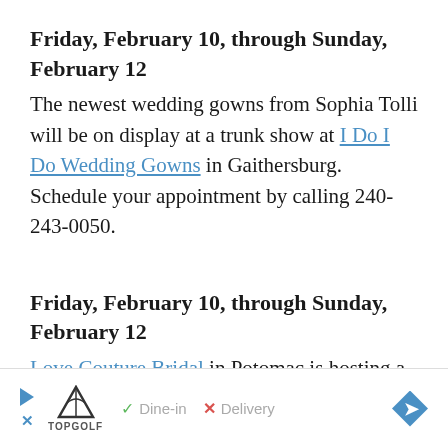Friday, February 10, through Sunday, February 12
The newest wedding gowns from Sophia Tolli will be on display at a trunk show at I Do I Do Wedding Gowns in Gaithersburg. Schedule your appointment by calling 240-243-0050.
Friday, February 10, through Sunday, February 12
Love Couture Bridal in Potomac is hosting a trunk show of wedding gowns by the Spanish design house Pronovias. Call 301-610-5683 to schedule your appointment.
[Figure (infographic): Advertisement banner: Topgolf logo with play button and X icon on left, checkmark Dine-in and X Delivery options in center, blue diamond arrow on right]